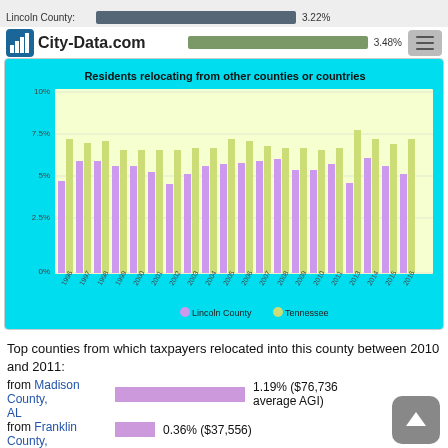City-Data.com | Lincoln County: 3.22% | 3.48%
[Figure (grouped-bar-chart): Residents relocating from other counties or countries]
Top counties from which taxpayers relocated into this county between 2010 and 2011:
from Madison County, AL  1.19% ($76,736 average AGI)
from Franklin County, TN  0.36% ($37,556)